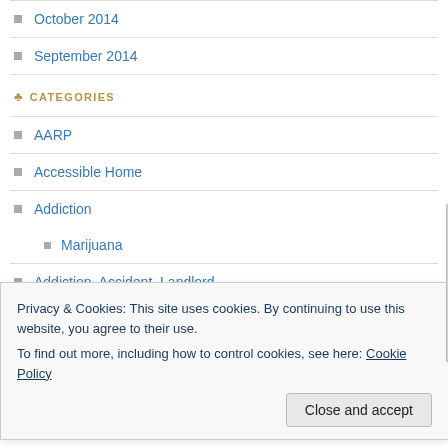October 2014
September 2014
CATEGORIES
AARP
Accessible Home
Addiction
Marijuana
Addiction, Accident, Landlord
Aging
Aging in Place. Seniors
Privacy & Cookies: This site uses cookies. By continuing to use this website, you agree to their use.
To find out more, including how to control cookies, see here: Cookie Policy